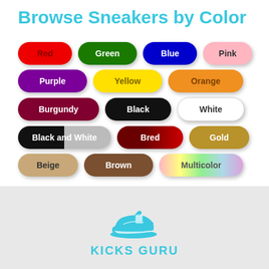Browse Sneakers by Color
[Figure (infographic): Color pill buttons for sneaker browsing: Red, Green, Blue, Pink, Purple, Yellow, Orange, Burgundy, Black, White, Black and White, Bred, Gold, Beige, Brown, Multicolor]
[Figure (illustration): Cyan/turquoise sneaker icon (Jordan-style shoe silhouette)]
KICKS GURU